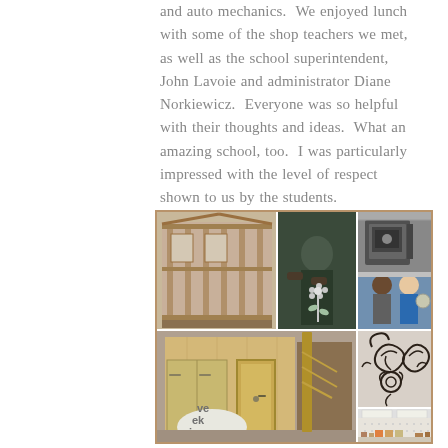and auto mechanics.  We enjoyed lunch with some of the shop teachers we met, as well as the school superintendent, John Lavoie and administrator Diane Norkiewicz.  Everyone was so helpful with their thoughts and ideas.  What an amazing school, too.  I was particularly impressed with the level of respect shown to us by the students.
[Figure (photo): Collage of six photos from a school shop/vocational program showing: a framed house structure under construction, a student holding a metal flower, a CNC machining center, two men posing together, decorative wrought iron scrollwork pieces, a utility room or kitchen mockup with plywood walls and appliances, and a classroom/lab room with pegboards and shelving.]